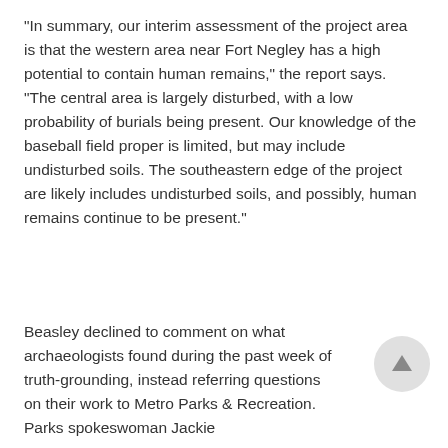“In summary, our interim assessment of the project area is that the western area near Fort Negley has a high potential to contain human remains,” the report says. “The central area is largely disturbed, with a low probability of burials being present. Our knowledge of the baseball field proper is limited, but may include undisturbed soils. The southeastern edge of the project are likely includes undisturbed soils, and possibly, human remains continue to be present.”
Beasley declined to comment on what archaeologists found during the past week of truth-grounding, instead referring questions on their work to Metro Parks & Recreation. Parks spokeswoman Jackie